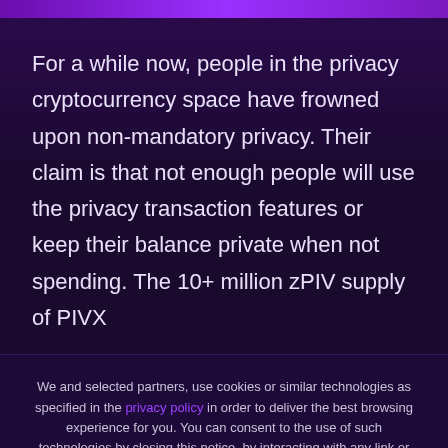For a while now, people in the privacy cryptocurrency space have frowned upon non-mandatory privacy. Their claim is that not enough people will use the privacy transaction features or keep their balance private when not spending. The 10+ million zPIV supply of PIVX
We and selected partners, use cookies or similar technologies as specified in the privacy policy in order to deliver the best browsing experience for you. You can consent to the use of such technologies by closing this notice, by interacting with any link or button outside of this notice or by continuing to browse otherwise.
ACCEPT COOKIES